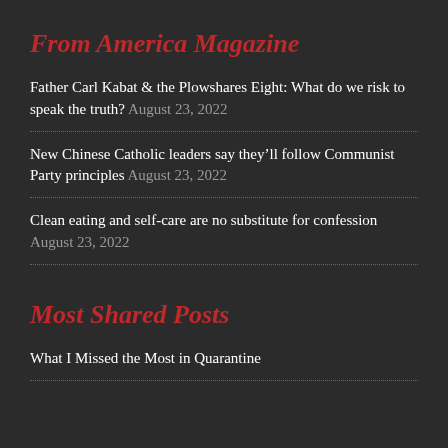From America Magazine
Father Carl Kabat & the Plowshares Eight: What do we risk to speak the truth? August 23, 2022
New Chinese Catholic leaders say they'll follow Communist Party principles August 23, 2022
Clean eating and self-care are no substitute for confession August 23, 2022
Most Shared Posts
What I Missed the Most in Quarantine